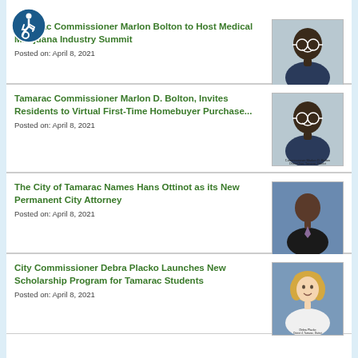[Figure (logo): Accessibility icon - blue circle with wheelchair user symbol]
Tamarac Commissioner Marlon Bolton to Host Medical Marijuana Industry Summit
Posted on: April 8, 2021
[Figure (photo): Portrait photo of Commissioner Marlon Bolton]
Tamarac Commissioner Marlon D. Bolton, Invites Residents to Virtual First-Time Homebuyer Purchase...
Posted on: April 8, 2021
[Figure (photo): Portrait photo of Commissioner Marlon D. Bolton]
The City of Tamarac Names Hans Ottinot as its New Permanent City Attorney
Posted on: April 8, 2021
[Figure (photo): Portrait photo of Hans Ottinot]
City Commissioner Debra Placko Launches New Scholarship Program for Tamarac Students
Posted on: April 8, 2021
[Figure (photo): Portrait photo of Commissioner Debra Placko]